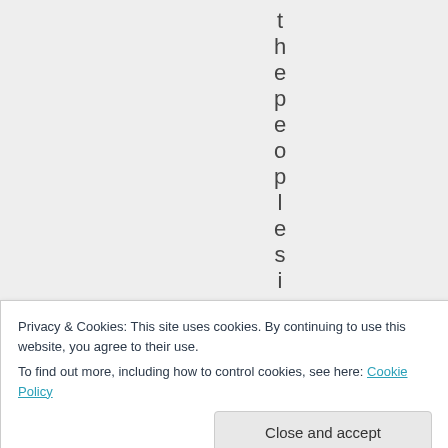t h e p e o p l e s i
Privacy & Cookies: This site uses cookies. By continuing to use this website, you agree to their use.
To find out more, including how to control cookies, see here: Cookie Policy
Close and accept
[Figure (other): A teal/cyan star icon at the bottom of the page]